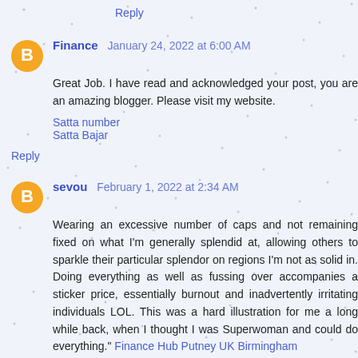Reply
Finance January 24, 2022 at 6:00 AM
Great Job. I have read and acknowledged your post, you are an amazing blogger. Please visit my website.
Satta number
Satta Bajar
Reply
sevou February 1, 2022 at 2:34 AM
Wearing an excessive number of caps and not remaining fixed on what I'm generally splendid at, allowing others to sparkle their particular splendor on regions I'm not as solid in. Doing everything as well as fussing over accompanies a sticker price, essentially burnout and inadvertently irritating individuals LOL. This was a hard illustration for me a long while back, when I thought I was Superwoman and could do everything." Finance Hub Putney UK Birmingham